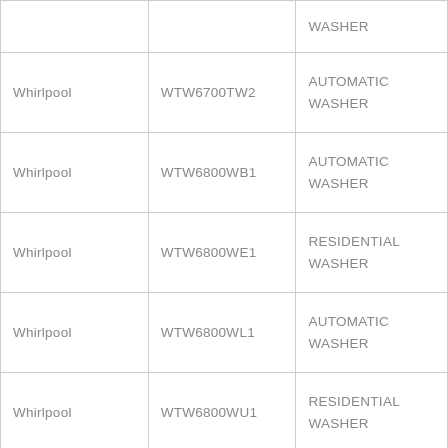|  |  | WASHER |
| Whirlpool | WTW6700TW2 | AUTOMATIC
WASHER |
| Whirlpool | WTW6800WB1 | AUTOMATIC
WASHER |
| Whirlpool | WTW6800WE1 | RESIDENTIAL
WASHER |
| Whirlpool | WTW6800WL1 | AUTOMATIC
WASHER |
| Whirlpool | WTW6800WU1 | RESIDENTIAL
WASHER |
|  |  | AUTOMATIC |